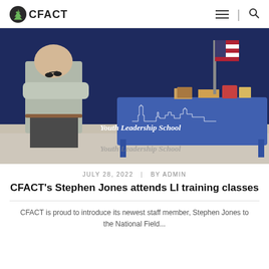CFACT
[Figure (photo): A man standing with arms crossed next to a blue table cloth displaying 'Youth Leadership School' with a Washington DC skyline silhouette. The table has books and materials on it. A US flag is visible in the background.]
JULY 28, 2022  |  BY ADMIN
CFACT's Stephen Jones attends LI training classes
CFACT is proud to introduce its newest staff member, Stephen Jones to the National Field...